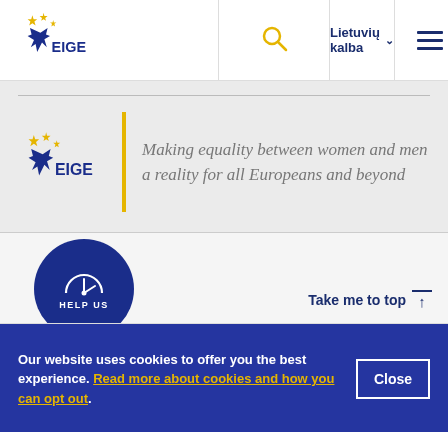[Figure (logo): EIGE logo in header navigation bar]
[Figure (logo): Search icon (magnifying glass) in yellow]
Lietuvių kalba
[Figure (logo): Hamburger menu icon (three horizontal lines)]
[Figure (logo): EIGE logo in hero section]
Making equality between women and men a reality for all Europeans and beyond
[Figure (illustration): Blue circular icon with gauge/meter symbol and text HELP US]
Take me to top ↑
Our website uses cookies to offer you the best experience. Read more about cookies and how you can opt out.
Close